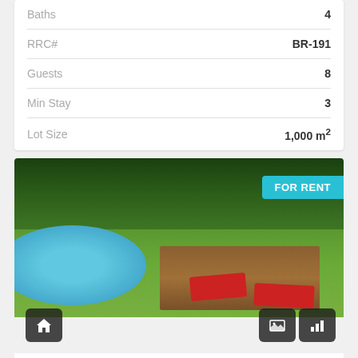| Property | Value |
| --- | --- |
| Baths | 4 |
| RRC# | BR-191 |
| Guests | 8 |
| Min Stay | 3 |
| Lot Size | 1,000 m² |
[Figure (photo): Outdoor photo of Pondok Santai villa in Seminyak, Bali showing a tropical garden with large trees, green lawn, round swimming pool on the left, two red sun loungers in the center, and a traditional Balinese pavilion/structure on the right. A 'FOR RENT' badge is visible in the upper right corner. Navigation buttons (home, gallery, chart) appear at the bottom corners.]
Pondok Santai
Seminyak, Bali 80361 Indonesia